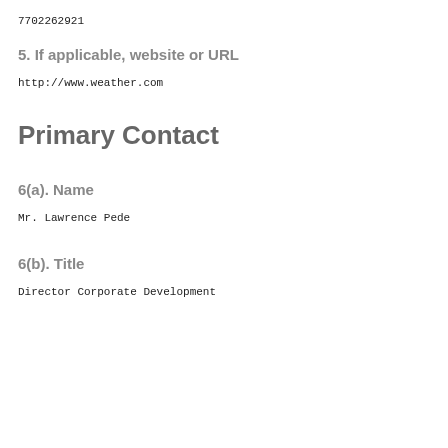7702262921
5. If applicable, website or URL
http://www.weather.com
Primary Contact
6(a). Name
Mr. Lawrence Pede
6(b). Title
Director Corporate Development